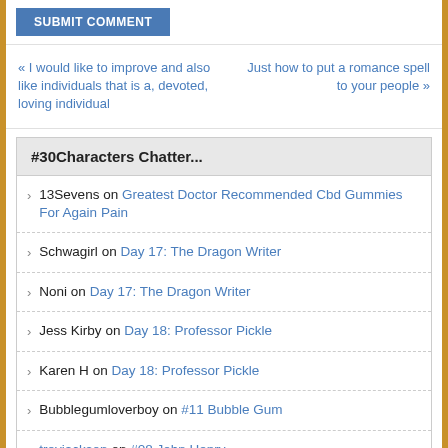SUBMIT COMMENT
« I would like to improve and also like individuals that is a, devoted, loving individual
Just how to put a romance spell to your people »
#30Characters Chatter...
13Sevens on Greatest Doctor Recommended Cbd Gummies For Again Pain
Schwagirl on Day 17: The Dragon Writer
Noni on Day 17: The Dragon Writer
Jess Kirby on Day 18: Professor Pickle
Karen H on Day 18: Professor Pickle
Bubblegumloverboy on #11 Bubble Gum
treyjackson on #08 John Henry
John Henry on #08 John Henry
treyjackson on #08 John Henry
John Henry on #08 John Henry